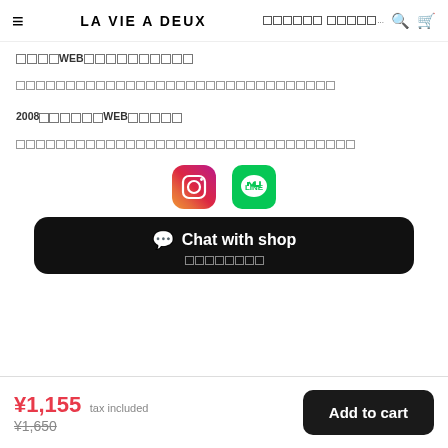LA VIE A DEUX [nav items] [search] [cart]
□□□□WEB□□□□□□□□□
□□□□□□□□□□□□□□□□□□□□□□□□□□□□□□□□
2008□□□□□□□WEB□□□□□
□□□□□□□□□□□□□□□□□□□□□□□□□□□□□□□□□□□
[Figure (logo): Instagram icon and LINE icon social media buttons]
Chat with shop □□□□□□□□
¥1,155 tax included ¥1,650 Add to cart